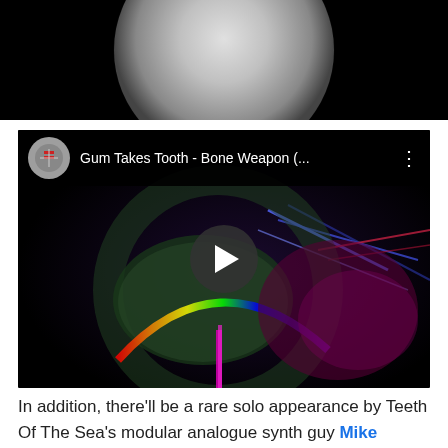[Figure (photo): Partial image of a spherical object (planet or moon) against a black background, cropped at the top of the page]
[Figure (screenshot): YouTube video embed showing 'Gum Takes Tooth - Bone Weapon (...' with a colorful psychedelic music video thumbnail featuring a face with vivid lights, a play button in the center, and a three-dot menu icon]
In addition, there'll be a rare solo appearance by Teeth Of The Sea's modular analogue synth guy Mike Bourne who – in parallel to his band work – has recently put out a